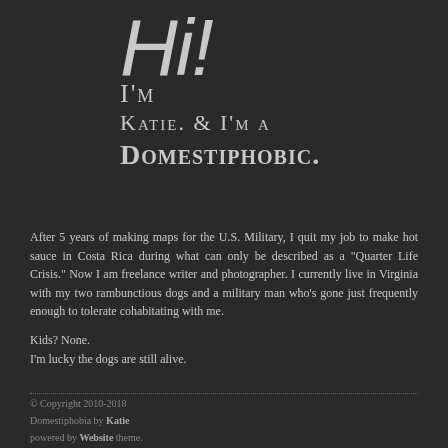Hi! I'm Katie. & I'm a Domestiphobic.
After 5 years of making maps for the U.S. Military, I quit my job to make hot sauce in Costa Rica during what can only be described as a "Quarter Life Crisis." Now I am freelance writer and photographer. I currently live in Virginia with my two rambunctious dogs and a military man who's gone just frequently enough to tolerate cohabitating with me.
Kids? None.
I'm lucky the dogs are still alive.
© Copyright 2010-2018
Domestiphobia by Katie
powered by Website theme.